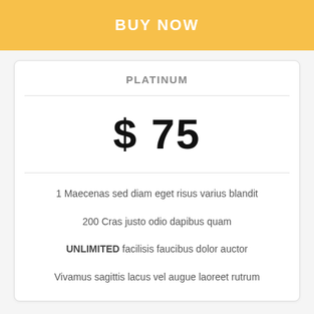BUY NOW
PLATINUM
$ 75
1 Maecenas sed diam eget risus varius blandit
200 Cras justo odio dapibus quam
UNLIMITED facilisis faucibus dolor auctor
Vivamus sagittis lacus vel augue laoreet rutrum